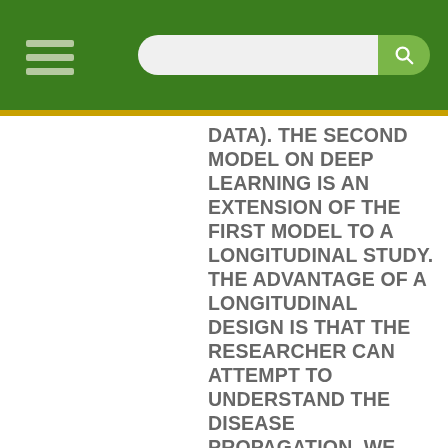[Navigation header with hamburger menu and search bar]
DATA). THE SECOND MODEL ON DEEP LEARNING IS AN EXTENSION OF THE FIRST MODEL TO A LONGITUDINAL STUDY. THE ADVANTAGE OF A LONGITUDINAL DESIGN IS THAT THE RESEARCHER CAN ATTEMPT TO UNDERSTAND THE DISEASE PROPAGATION. WE PROPOSE USING A DEEP LEARNING